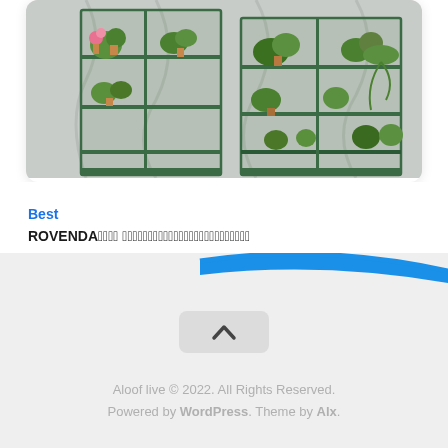[Figure (photo): Photo of a greenhouse shelving unit with multiple plants on shelves, dark frame with clear plastic cover]
Best
ROVENDA温室テント ビニールハウス家庭用室内屋外植物のための植物テント
2022年3月25日
[Figure (illustration): Blue swoosh decorative element and back-to-top chevron button]
Aloof live © 2022. All Rights Reserved. Powered by WordPress. Theme by Alx.